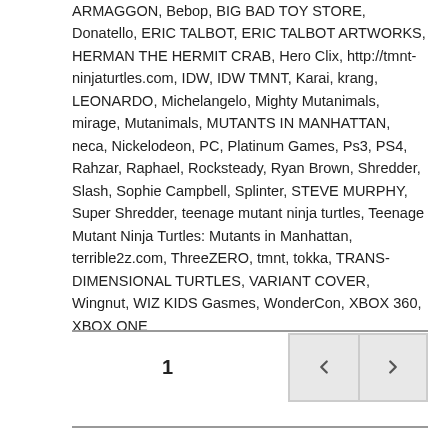ARMAGGON, Bebop, BIG BAD TOY STORE, Donatello, ERIC TALBOT, ERIC TALBOT ARTWORKS, HERMAN THE HERMIT CRAB, Hero Clix, http://tmnt-ninjaturtles.com, IDW, IDW TMNT, Karai, krang, LEONARDO, Michelangelo, Mighty Mutanimals, mirage, Mutanimals, MUTANTS IN MANHATTAN, neca, Nickelodeon, PC, Platinum Games, Ps3, PS4, Rahzar, Raphael, Rocksteady, Ryan Brown, Shredder, Slash, Sophie Campbell, Splinter, STEVE MURPHY, Super Shredder, teenage mutant ninja turtles, Teenage Mutant Ninja Turtles: Mutants in Manhattan, terrible2z.com, ThreeZERO, tmnt, tokka, TRANS-DIMENSIONAL TURTLES, VARIANT COVER, Wingnut, WIZ KIDS Gasmes, WonderCon, XBOX 360, XBOX ONE
1